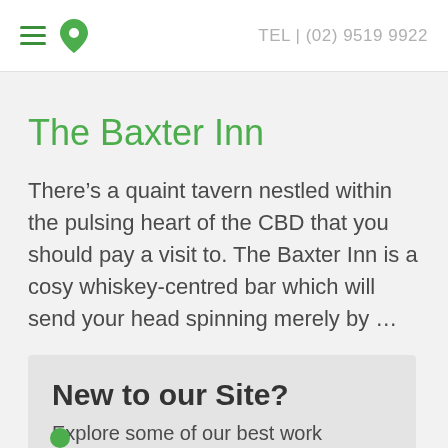TEL | (02) 9519 9922
The Baxter Inn
There’s a quaint tavern nestled within the pulsing heart of the CBD that you should pay a visit to. The Baxter Inn is a cosy whiskey-centred bar which will send your head spinning merely by …
New to our Site?
Explore some of our best work